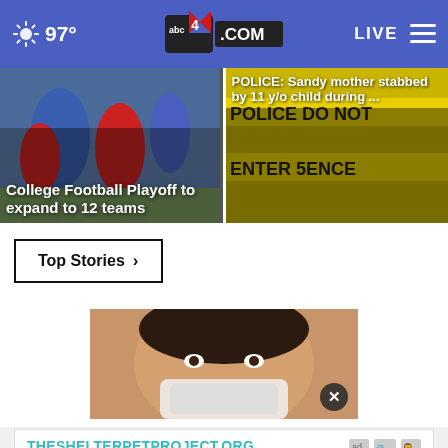97° abc4.com LIVE
[Figure (photo): College football players in action — College Football Playoff to expand to 12 teams]
[Figure (photo): Police crime scene tape — POLICE: Sandy mother stabbed by 11 y/o child during ...]
Top Stories ›
[Figure (photo): Woman covering mouth with cloth — video thumbnail with close button]
[Figure (infographic): Ad banner: THESHELTERPETPROJECT.ORG with ad choice logos]